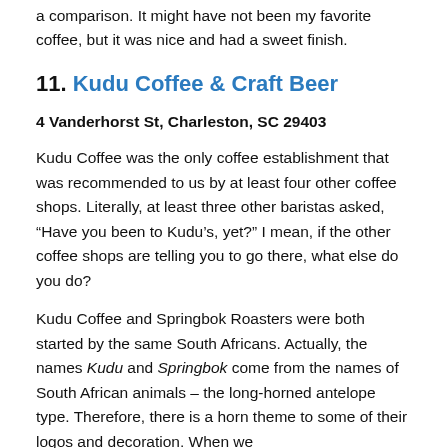a comparison. It might have not been my favorite coffee, but it was nice and had a sweet finish.
11. Kudu Coffee & Craft Beer
4 Vanderhorst St, Charleston, SC 29403
Kudu Coffee was the only coffee establishment that was recommended to us by at least four other coffee shops. Literally, at least three other baristas asked, “Have you been to Kudu’s, yet?” I mean, if the other coffee shops are telling you to go there, what else do you do?
Kudu Coffee and Springbok Roasters were both started by the same South Africans. Actually, the names Kudu and Springbok come from the names of South African animals – the long-horned antelope type. Therefore, there is a horn theme to some of their logos and decoration. When we